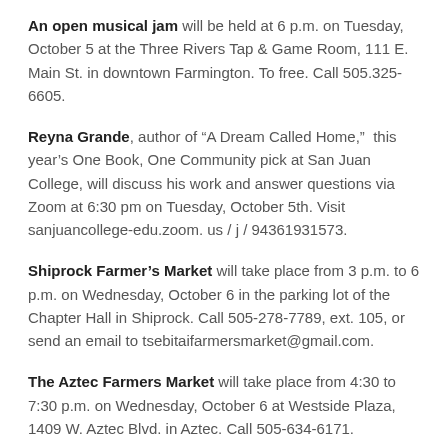An open musical jam will be held at 6 p.m. on Tuesday, October 5 at the Three Rivers Tap & Game Room, 111 E. Main St. in downtown Farmington. To free. Call 505.325-6605.
Reyna Grande, author of “A Dream Called Home,” this year’s One Book, One Community pick at San Juan College, will discuss his work and answer questions via Zoom at 6:30 pm on Tuesday, October 5th. Visit sanjuancollege-edu.zoom. us / j / 94361931573.
Shiprock Farmer’s Market will take place from 3 p.m. to 6 p.m. on Wednesday, October 6 in the parking lot of the Chapter Hall in Shiprock. Call 505-278-7789, ext. 105, or send an email to tsebitaifarmersmarket@gmail.com.
The Aztec Farmers Market will take place from 4:30 to 7:30 p.m. on Wednesday, October 6 at Westside Plaza, 1409 W. Aztec Blvd. in Aztec. Call 505-634-6171.